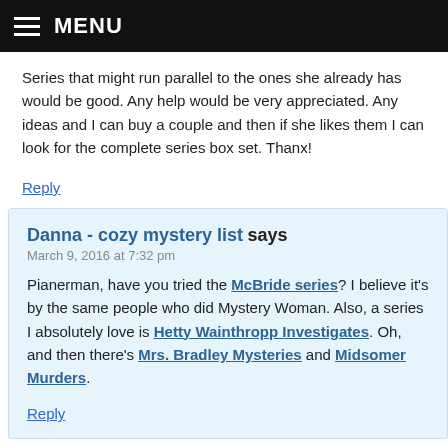MENU
Series that might run parallel to the ones she already has would be good. Any help would be very appreciated. Any ideas and I can buy a couple and then if she likes them I can look for the complete series box set. Thanx!
Reply
Danna - cozy mystery list says
March 9, 2016 at 7:32 pm
Pianerman, have you tried the McBride series? I believe it's by the same people who did Mystery Woman. Also, a series I absolutely love is Hetty Wainthropp Investigates. Oh, and then there's Mrs. Bradley Mysteries and Midsomer Murders.
Reply